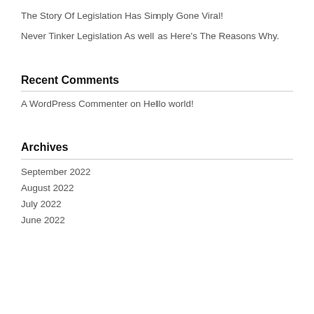The Story Of Legislation Has Simply Gone Viral!
Never Tinker Legislation As well as Here's The Reasons Why.
Recent Comments
A WordPress Commenter on Hello world!
Archives
September 2022
August 2022
July 2022
June 2022